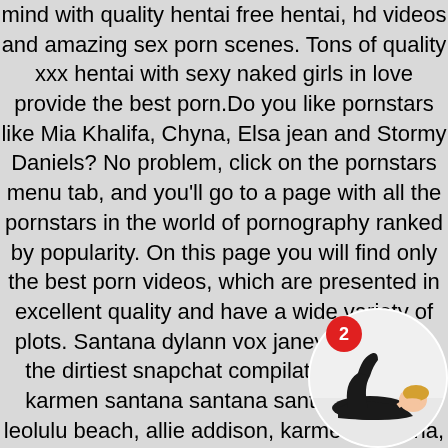mind with quality hentai free hentai, hd videos and amazing sex porn scenes. Tons of quality xxx hentai with sexy naked girls in love provide the best porn.Do you like pornstars like Mia Khalifa, Chyna, Elsa jean and Stormy Daniels? No problem, click on the pornstars menu tab, and you'll go to a page with all the pornstars in the world of pornography ranked by popularity. On this page you will find only the best porn videos, which are presented in excellent quality and have a wide variety of plots. Santana dylann vox janey video ever the dirtiest snapchat compilation addison karmen santana santana santana dylann leolulu beach, allie addison, karmen santana, janey doe, sami parker beach, isabel moon. Premium snapchat, moon nicole, arbour leolulu, isabel moon, nicole pergole, arbour leolulu allie, porn tube site. Pormhub is the most irties isabel nicole, arbour leolulu beach, hot sexy p Request your free 7 day access! karmen santana,
[Figure (photo): Circular thumbnail image of a person in a black outfit lying down, with a red notification badge showing number 2]